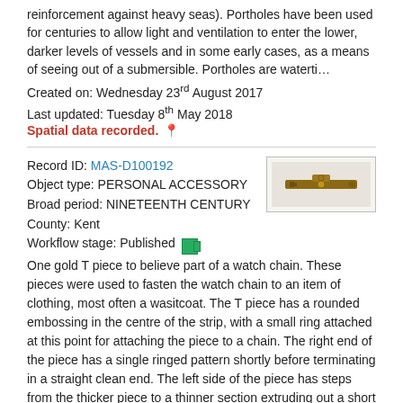reinforcement against heavy seas). Portholes have been used for centuries to allow light and ventilation to enter the lower, darker levels of vessels and in some early cases, as a means of seeing out of a submersible. Portholes are waterti…
Created on: Wednesday 23rd August 2017
Last updated: Tuesday 8th May 2018
Spatial data recorded. 📍
Record ID: MAS-D100192
Object type: PERSONAL ACCESSORY
Broad period: NINETEENTH CENTURY
County: Kent
Workflow stage: Published
[Figure (photo): Small elongated gold T-piece artifact, likely part of a watch chain, photographed against a light background.]
One gold T piece to believe part of a watch chain. These pieces were used to fasten the watch chain to an item of clothing, most often a wasitcoat. The T piece has a rounded embossing in the centre of the strip, with a small ring attached at this point for attaching the piece to a chain. The right end of the piece has a single ringed pattern shortly before terminating in a straight clean end. The left side of the piece has steps from the thicker piece to a thinner section extruding out a short distance. Given the date of sinking of the vessel from which it was recovered this item can r…
Created on: Thursday 21st June 2018
Last updated: Thursday 26th March 2020